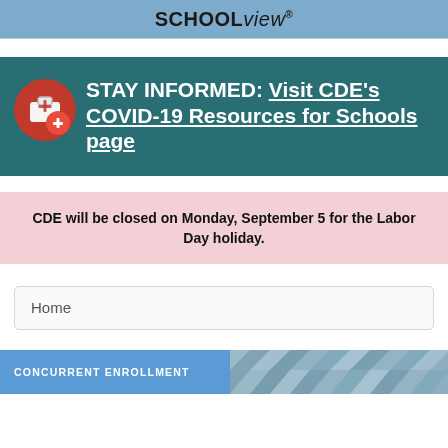SCHOOLview®
STAY INFORMED: Visit CDE's COVID-19 Resources for Schools page
CDE will be closed on Monday, September 5 for the Labor Day holiday.
Home
[Figure (screenshot): Concurrent Enrollment banner image — partially visible at bottom of page]